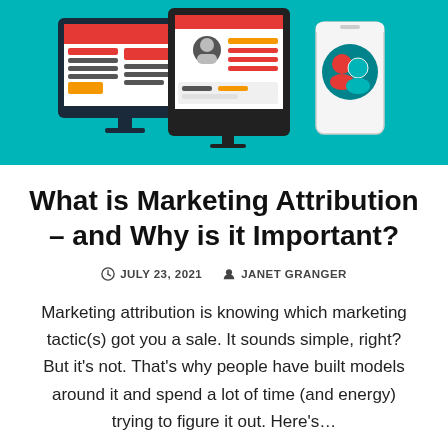[Figure (illustration): Hero illustration showing digital marketing devices: a laptop/tablet with a website layout, a desktop monitor with a user profile dashboard, and a mobile phone with a user icon, all on a teal/cyan background with red, orange, and white UI elements.]
What is Marketing Attribution – and Why is it Important?
JULY 23, 2021   JANET GRANGER
Marketing attribution is knowing which marketing tactic(s) got you a sale. It sounds simple, right? But it's not. That's why people have built models around it and spend a lot of time (and energy) trying to figure it out. Here's…